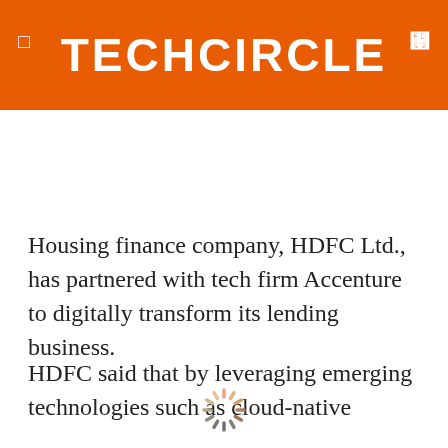TECHCIRCLE
Housing finance company, HDFC Ltd., has partnered with tech firm Accenture to digitally transform its lending business.
HDFC said that by leveraging emerging technologies such as cloud-native